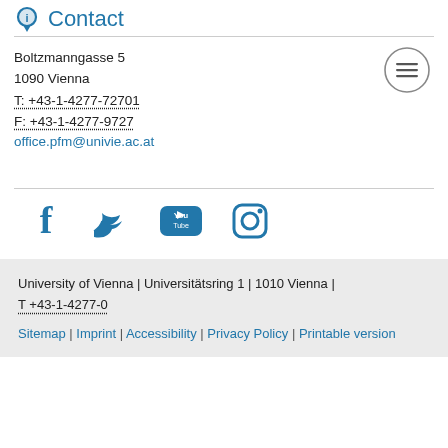Contact
Boltzmanngasse 5
1090 Vienna
T: +43-1-4277-72701
F: +43-1-4277-9727
office.pfm@univie.ac.at
[Figure (illustration): Menu/hamburger button icon (circle with three horizontal lines)]
[Figure (illustration): Social media icons: Facebook, Twitter, YouTube, Instagram]
University of Vienna | Universitätsring 1 | 1010 Vienna | T +43-1-4277-0
Sitemap | Imprint | Accessibility | Privacy Policy | Printable version